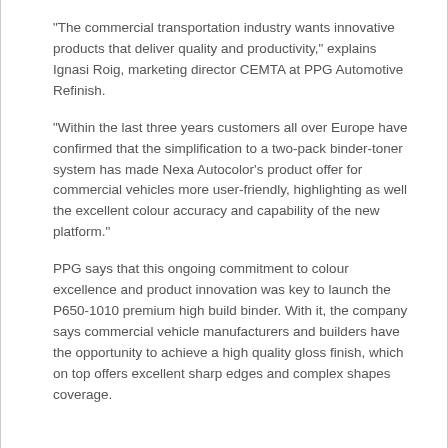“The commercial transportation industry wants innovative products that deliver quality and productivity,” explains Ignasi Roig, marketing director CEMTA at PPG Automotive Refinish.
“Within the last three years customers all over Europe have confirmed that the simplification to a two-pack binder-toner system has made Nexa Autocolor’s product offer for commercial vehicles more user-friendly, highlighting as well the excellent colour accuracy and capability of the new platform.”
PPG says that this ongoing commitment to colour excellence and product innovation was key to launch the P650-1010 premium high build binder. With it, the company says commercial vehicle manufacturers and builders have the opportunity to achieve a high quality gloss finish, which on top offers excellent sharp edges and complex shapes coverage.